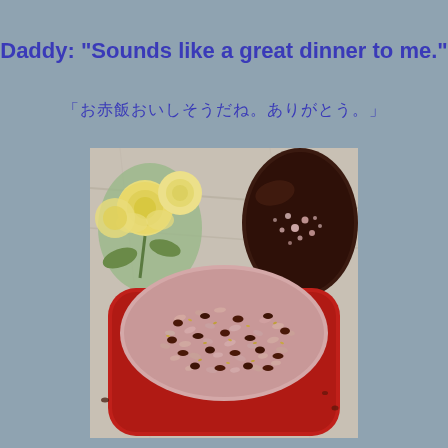Daddy: "Sounds like a great dinner to me."
「お赤飯おいしそうだね。ありがとう。」
[Figure (photo): A red square dish filled with sekihan (Japanese red bean rice / sticky rice with azuki beans), with sesame seeds sprinkled on top. In the background, there are yellow roses and a dark lacquer lid with cherry blossom decoration, all placed on a granite countertop.]